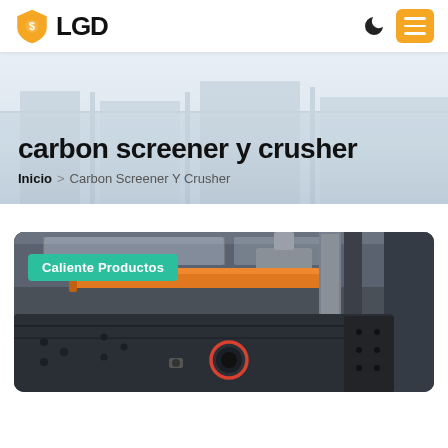[Figure (logo): LGD logo with gold shield icon and bold LGD text]
carbon screener y crusher
Inicio > Carbon Screener Y Crusher
[Figure (photo): Industrial factory interior showing heavy machinery — a large dark metal screening/crushing machine with bolted panels and a circular opening, orange overhead crane beam, structural columns, and industrial lighting in background. Badge overlay reads 'Caliente Productos'.]